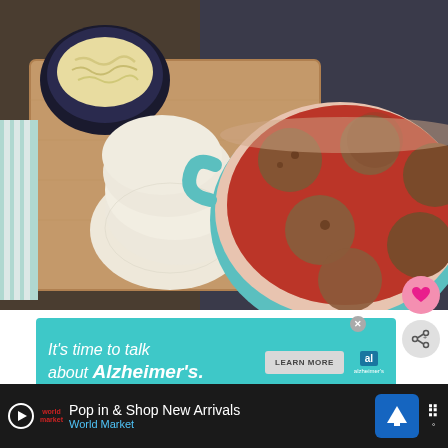[Figure (photo): Food photography showing a wooden cutting board with sliced fresh mozzarella and a bowl of shredded cheese on the left, and a teal/mint colored Dutch oven pot filled with meatballs in red tomato sauce on the right, on a dark background]
[Figure (infographic): Teal advertisement banner reading 'It's time to talk about Alzheimer's.' with a 'LEARN MORE' button and Alzheimer's association logo]
WHAT'S NEXT → BBQ Pulled Chicken...
Pop in & Shop New Arrivals World Market